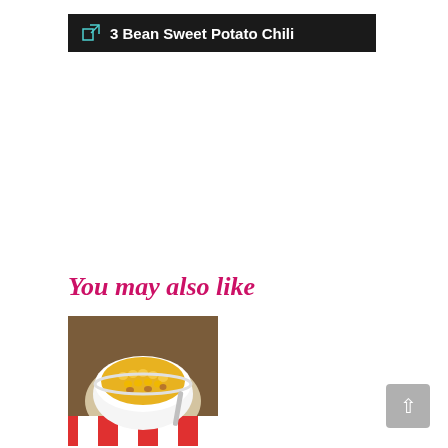3 Bean Sweet Potato Chili
You may also like
[Figure (photo): A white bowl filled with a yellow corn and bean chili stew, served on a red and white checkered cloth with a spoon, on a wooden surface.]